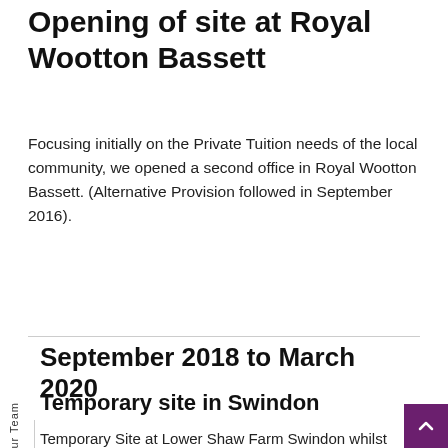Opening of site at Royal Wootton Bassett
Focusing initially on the Private Tuition needs of the local community, we opened a second office in Royal Wootton Bassett. (Alternative Provision followed in September 2016).
September 2018 to March 2020
Temporary site in Swindon
Temporary Site at Lower Shaw Farm Swindon whilst finding a suitable permanent wildlife venue.